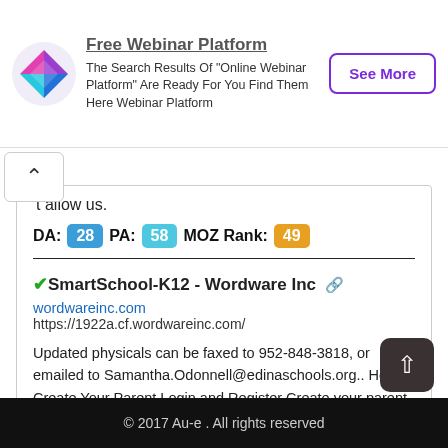[Figure (logo): Colorful diamond-shaped logo with purple, blue, cyan, and pink segments]
Free Webinar Platform
The Search Results Of "Online Webinar Platform" Are Ready For You Find Them Here Webinar Platform
See More
t allow us.
DA: 28  PA: 58  MOZ Rank: 49
✓SmartSchool-K12 - Wordware Inc ↗
wordwareinc.com
https://1922a.cf.wordwareinc.com/
Updated physicals can be faxed to 952-848-3818, or emailed to Samantha.Odonnell@edinaschools.org.. How to Create Your Parent Login and Register Create your parent login Registration Instructions
DA: 45  PA: 40  MOZ Rank: 14
© 2017 Au-e . All rights reserved